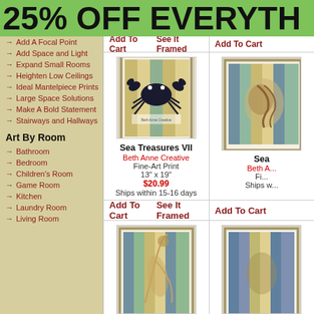25% OFF EVERYTH
Add A Focal Point
Add Space and Light
Expand Small Rooms
Heighten Low Ceilings
Ideal Mantelpiece Prints
Large Space Solutions
Make A Bold Statement
Stairways and Hallways
Art By Room
Bathroom
Bedroom
Children's Room
Game Room
Kitchen
Laundry Room
Living Room
Add To Cart   See It Framed
[Figure (illustration): Framed art print of a blue crab on a distressed wood background with text, in a white frame - Sea Treasures VII]
Sea Treasures VII
Beth Anne Creative
Fine-Art Print
13" x 19"
$20.99
Ships within 15-16 days
Add To Cart   See It Framed
[Figure (illustration): Framed art print of a sea creature/shell in a distressed blue frame - partial view]
[Figure (illustration): Partially visible framed art print with a bird/heron on a beach background]
[Figure (illustration): Partially visible framed art print in blue frame - bottom row right column]